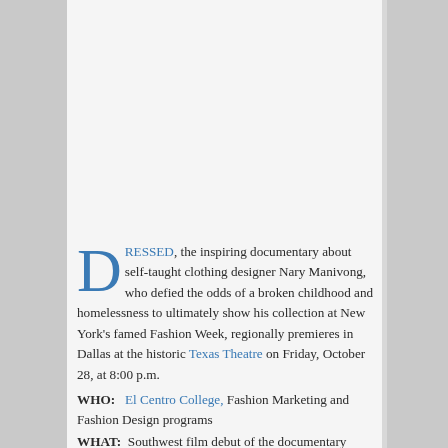DRESSED, the inspiring documentary about self-taught clothing designer Nary Manivong, who defied the odds of a broken childhood and homelessness to ultimately show his collection at New York's famed Fashion Week, regionally premieres in Dallas at the historic Texas Theatre on Friday, October 28, at 8:00 p.m.
WHO: El Centro College, Fashion Marketing and Fashion Design programs
WHAT: Southwest film debut of the documentary